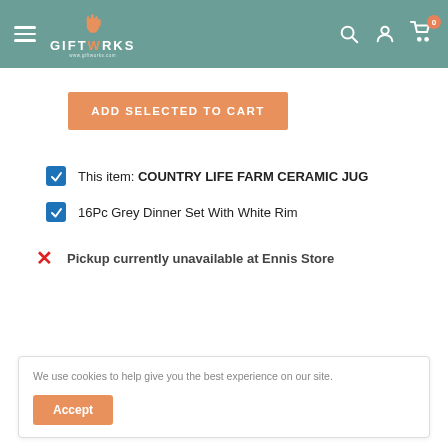GIFTWORKS - navigation header
ADD SELECTED TO CART
This item: COUNTRY LIFE FARM CERAMIC JUG
16Pc Grey Dinner Set With White Rim
Pickup currently unavailable at Ennis Store
We use cookies to help give you the best experience on our site.
Accept